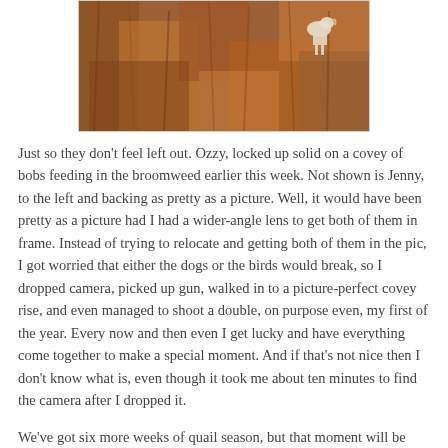[Figure (photo): A dog (Ozzy) locked up on point in broomweed/brush field, with orange-brown dried vegetation. A white dog is visible in the upper right area of the field.]
Just so they don't feel left out. Ozzy, locked up solid on a covey of bobs feeding in the broomweed earlier this week. Not shown is Jenny, to the left and backing as pretty as a picture. Well, it would have been pretty as a picture had I had a wider-angle lens to get both of them in frame. Instead of trying to relocate and getting both of them in the pic, I got worried that either the dogs or the birds would break, so I dropped camera, picked up gun, walked in to a picture-perfect covey rise, and even managed to shoot a double, on purpose even, my first of the year. Every now and then even I get lucky and have everything come together to make a special moment. And if that's not nice then I don't know what is, even though it took me about ten minutes to find the camera after I dropped it.
We've got six more weeks of quail season, but that moment will be pretty hard to top, and a good way for the setters to